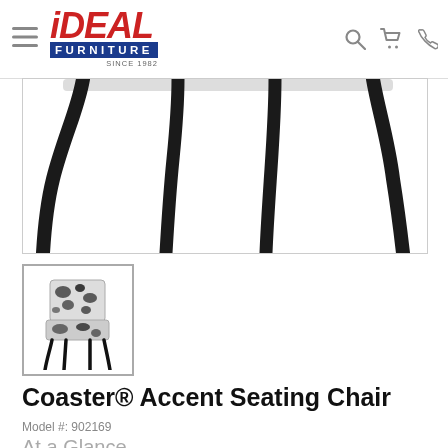iDEAL FURNITURE SINCE 1982
[Figure (photo): Close-up of black curved tapered chair legs against white background, bottom portion of accent chair]
[Figure (photo): Thumbnail of Coaster Accent Seating Chair with black and white cowhide print upholstery and black tapered legs]
Coaster® Accent Seating Chair
Model #: 902169
At a Glance
Coaster® Accent Seating Chair with track arms and tapered legs